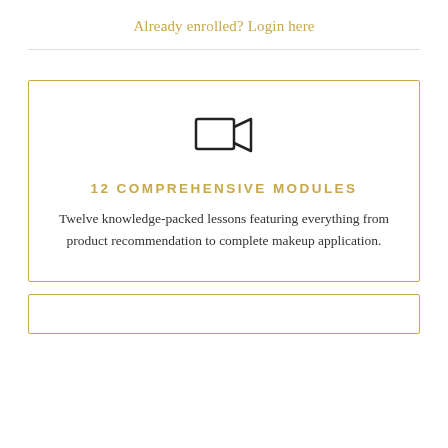Already enrolled? Login here
[Figure (illustration): Video camera icon inside a bordered card]
12 COMPREHENSIVE MODULES
Twelve knowledge-packed lessons featuring everything from product recommendation to complete makeup application.